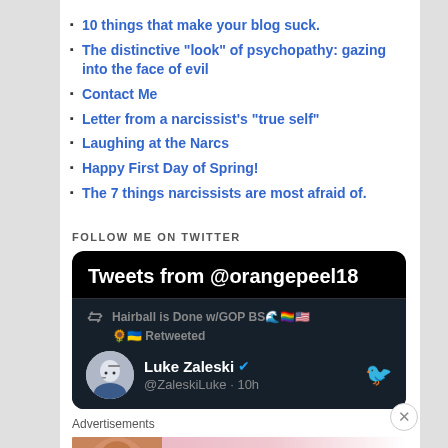10 things that make your blog suck.
The distinctive "look" of psychopathy: gazing into the face of evil
Contact Me
Letter from a narcissist's "true self"
Laughing at the Narcs
Happy First Day of Spring!
The 7 things narcissists are most afraid of.
FOLLOW ME ON TWITTER
[Figure (screenshot): Twitter widget showing Tweets from @orangepeel18, with a retweet from Hairball is Done w/GOP BS and a tweet by Luke Zaleski (@ZaleskiLuke · 10h)]
Advertisements
[Figure (other): Victoria's Secret advertisement banner: Shop The Collection / Shop Now]